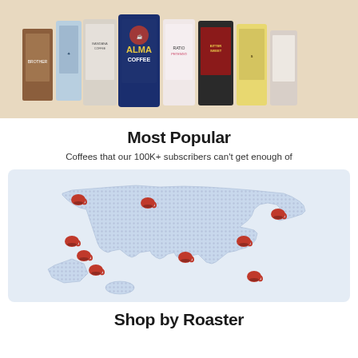[Figure (photo): Row of coffee bags from various roasters including Alma Coffee, displayed on a tan/beige background]
Most Popular
Coffees that our 100K+ subscribers can't get enough of
[Figure (map): Dotted pixel-art style map of the United States with red coffee cup icons marking various locations across the country]
Shop by Roaster